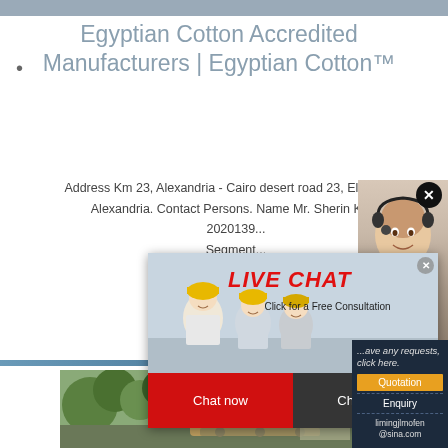Egyptian Cotton Accredited Manufacturers | Egyptian Cotton™
Address Km 23, Alexandria - Cairo desert road 23, El Amreya, Alexandria. Contact Persons. Name Mr. Sherin Khali 2020139... Segment...
[Figure (screenshot): Live chat popup with workers in hard hats and a customer service agent. Contains 'LIVE CHAT' in red italic text, 'Click for a Free Consultation', 'Chat now' button in red, 'Chat later' button in dark gray, and a CTA panel on the right with Quotation, Enquiry, and email limingjlmofen@sina.com]
[Figure (photo): Outdoor industrial/garden scene with trees and mechanical equipment visible at bottom of page]